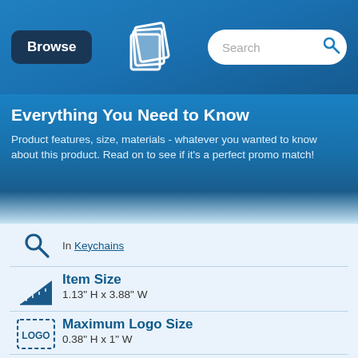Browse | [logo] | Search
Everything You Need to Know
Product features, size, materials - whatever you wanted to know about this product. Read on to see if it's a perfect promo match!
In Keychains
Item Size
1.13" H x 3.88" W
Maximum Logo Size
0.38" H x 1" W
Vector Artwork + Proofs
Free